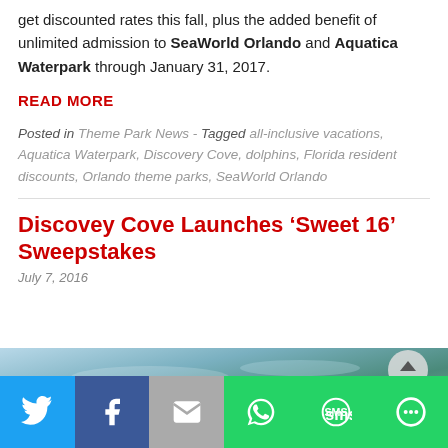get discounted rates this fall, plus the added benefit of unlimited admission to SeaWorld Orlando and Aquatica Waterpark through January 31, 2017.
READ MORE
Posted in Theme Park News - Tagged all-inclusive vacations, Aquatica Waterpark, Discovery Cove, dolphins, Florida resident discounts, Orlando theme parks, SeaWorld Orlando
Discovey Cove Launches 'Sweet 16' Sweepstakes
July 7, 2016
[Figure (photo): Photo of a dolphin in water at Discovery Cove]
[Figure (infographic): Social media sharing bar with Twitter, Facebook, Email, WhatsApp, SMS, and More buttons]